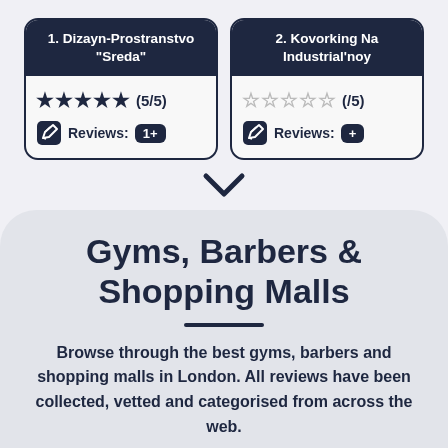[Figure (infographic): Two cards side by side. Card 1: header '1. Dizayn-Prostranstvo "Sreda"', 5 filled stars rating (5/5), Reviews: 1+. Card 2: header '2. Kovorking Na Industrial'noy', 5 empty stars (/5), Reviews: +]
Gyms, Barbers & Shopping Malls
Browse through the best gyms, barbers and shopping malls in London. All reviews have been collected, vetted and categorised from across the web.